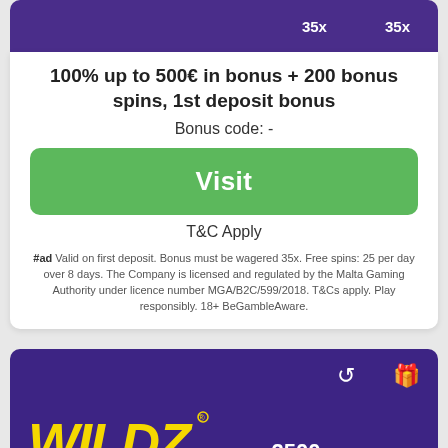35x   35x
100% up to 500€ in bonus + 200 bonus spins, 1st deposit bonus
Bonus code: -
Visit
T&C Apply
#ad Valid on first deposit. Bonus must be wagered 35x. Free spins: 25 per day over 8 days. The Company is licensed and regulated by the Malta Gaming Authority under licence number MGA/B2C/599/2018. T&Cs apply. Play responsibly. 18+ BeGambleAware.
[Figure (logo): Wildz casino logo in yellow on purple background]
2500   -
3 year Anniversary, Up to 2500 spins throughout the month of July